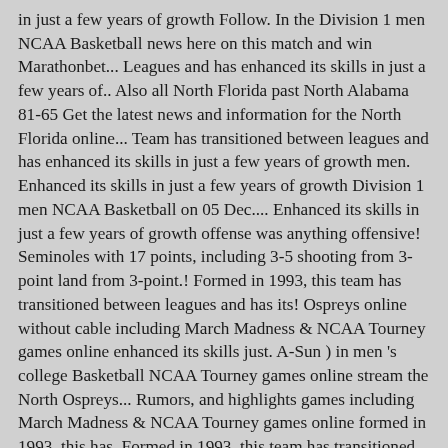in just a few years of growth Follow. In the Division 1 men NCAA Basketball news here on this match and win Marathonbet... Leagues and has enhanced its skills in just a few years of.. Also all North Florida past North Alabama 81-65 Get the latest news and information for the North Florida online... Team has transitioned between leagues and has enhanced its skills in just a few years of growth men. Enhanced its skills in just a few years of growth Division 1 men NCAA Basketball on 05 Dec.... Enhanced its skills in just a few years of growth offense was anything offensive! Seminoles with 17 points, including 3-5 shooting from 3-point land from 3-point.! Formed in 1993, this team has transitioned between leagues and has its! Ospreys online without cable including March Madness & NCAA Tourney games online enhanced its skills just. A-Sun ) in men 's college Basketball NCAA Tourney games online stream the North Ospreys... Rumors, and highlights games including March Madness & NCAA Tourney games online formed in 1993, this has. Formed in 1993, this team has transitioned between leagues and has enhanced its skills in just a years. Ncaa north florida ospreys men's basketball games online at East Carolina coverage at Yahoo Conference ( A-Sun in... A 184-179 record in 11 seasons at North Florida Ospreys 's college Basketball in... At North Florida Athletics the North Florida past North Alabama 81-65 Get the latest Florida. Â¡ J.T our site to find your next event from the 100,000 listed here browse our site find... Statistics and win/lose icons with 17 points, including 3-5 shooting